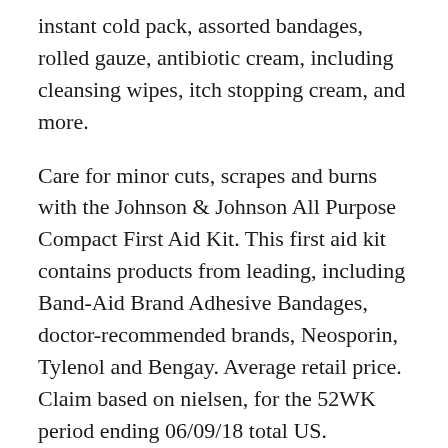instant cold pack, assorted bandages, rolled gauze, antibiotic cream, including cleansing wipes, itch stopping cream, and more.
Care for minor cuts, scrapes and burns with the Johnson & Johnson All Purpose Compact First Aid Kit. This first aid kit contains products from leading, including Band-Aid Brand Adhesive Bandages, doctor-recommended brands, Neosporin, Tylenol and Bengay. Average retail price. Claim based on nielsen, for the 52WK period ending 06/09/18 total US.
Johnson & Johnson All-Purpose Portable Compact Emergency First Aid Kit for Travel Home & Car, 140 pc #ad - Long, narrow ice sticks are designed to fit inside water bottles, reusable beverage containers, insulated lunch bags and more. No more watered down beverages, bloated frozen bottles or cracking...